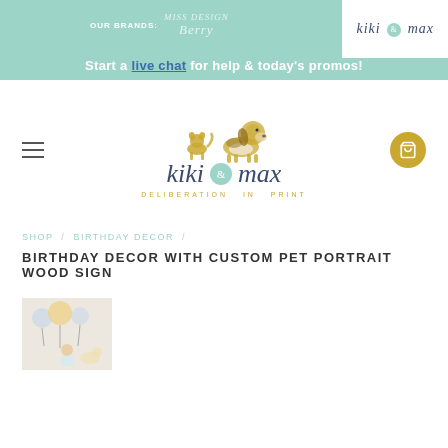OUR BRANDS: Miss Design Berry / kiki & max
Start a live chat for help & today's promos!
[Figure (logo): Kiki & max logo with illustrated dogs (small cat/dog and beagle) above stylized script text 'kiki & max' with tagline 'deliberation in print']
SHOP / BIRTHDAY DECOR /
BIRTHDAY DECOR WITH CUSTOM PET PORTRAIT WOOD SIGN
[Figure (photo): Small thumbnail photo of birthday decor setup with balloons and a child, light colored background]